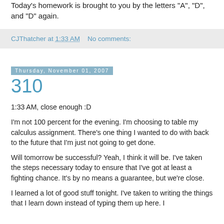Today's homework is brought to you by the letters "A", "D", and "D" again.
CJThatcher at 1:33 AM   No comments:
Thursday, November 01, 2007
310
1:33 AM, close enough :D
I'm not 100 percent for the evening. I'm choosing to table my calculus assignment. There's one thing I wanted to do with back to the future that I'm just not going to get done.
Will tomorrow be successful? Yeah, I think it will be. I've taken the steps necessary today to ensure that I've got at least a fighting chance. It's by no means a guarantee, but we're close.
I learned a lot of good stuff tonight. I've taken to writing the things that I learn down instead of typing them up here. I